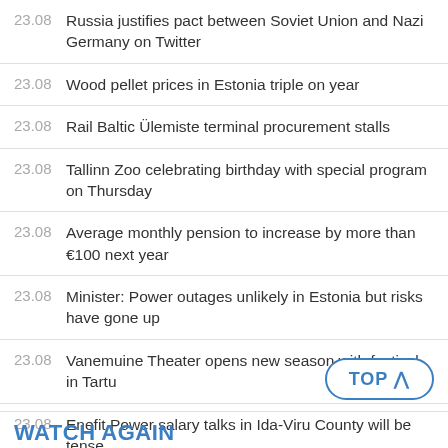23.08   Russia justifies pact between Soviet Union and Nazi Germany on Twitter
23.08   Wood pellet prices in Estonia triple on year
23.08   Rail Baltic Ülemiste terminal procurement stalls
23.08   Tallinn Zoo celebrating birthday with special program on Thursday
23.08   Average monthly pension to increase by more than €100 next year
23.08   Minister: Power outages unlikely in Estonia but risks have gone up
23.08   Vanemuine Theater opens new season with festival in Tartu
23.08   Enefit Power salary talks in Ida-Viru County will be tense
WATCH AGAIN